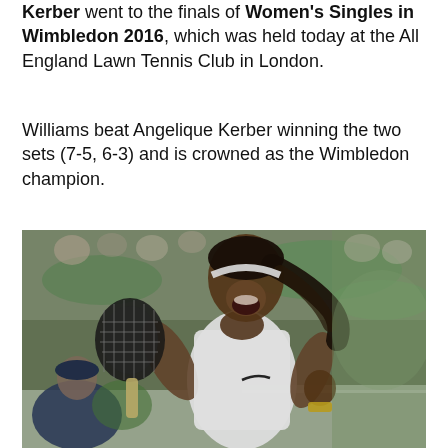Kerber went to the finals of Women's Singles in Wimbledon 2016, which was held today at the All England Lawn Tennis Club in London.
Williams beat Angelique Kerber winning the two sets (7-5, 6-3) and is crowned as the Wimbledon champion.
[Figure (photo): Serena Williams celebrating with her tennis racket at Wimbledon 2016, wearing a white Nike tennis outfit, pumping her fist and shouting in celebration.]